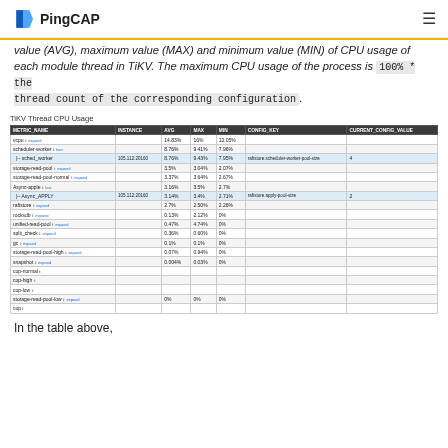PingCAP
value (AVG), maximum value (MAX) and minimum value (MIN) of CPU usage of each module thread in TiKV. The maximum CPU usage of the process is 100% * the thread count of the corresponding configuration.
TiKV Thread CPU Usage
| METRIC_NAME | INSTANCE | AVG | MAX | MIN | CONFIG_KEY | CURRENT_CONFIG_VALUE |
| --- | --- | --- | --- | --- | --- | --- |
| vcpu | expand |  | 14.83% | 16% | 12.05% |  |
| scheduler-worker | ban |  | 8.76% | 9.41% | 7.96% |  |
| |-- sched_worker | 105.112:20160 | 8.76% | 9.43% | 7.95% | raftstore.scheduler-worker-pool-size | 4 |
| storage-read-pool | expand |  | 3.5% | 3.04% | 2.07% |  |
| storage-read-pool-normal | expand |  | 3.37% | 3.64% | 2.67% |  |
| Async-apple | low |  | 3.16% | 3.5% | 2.7% |  |
| |-- Async_APPLY | 105.112:20160 | 3.14% | 3.4% | 2.71% | raftstore.apply-pool-size | 2 |
| raftstore | expand |  | 2.7% | 2.50% | 2.26% |  |
| rocksdb | expand |  | 0.13% | 2.12% | 0% |  |
| unified-read-pool | expand |  | 0.47% | 4.74% | 0% |  |
| split_check | expand |  | 0.36% | 0.60% | 0% |  |
| gc | expand |  | 0.1% | 0.1% | 0% |  |
| storage-read-pool-high | expand |  | 0.07% | 0.94% | 0% |  |
| snapshot | expand |  | 0.004% | 0.03% | 0% |  |
| cop-normal |  |  |  |  |  |  |
| cop-high |  |  |  |  |  |  |
| cop-low |  |  |  |  |  |  |
| storage-read-pool-low | expand | 0% | 0% | 0% |  |  |
| cop |  |  |  |  |  |  |
In the table above,